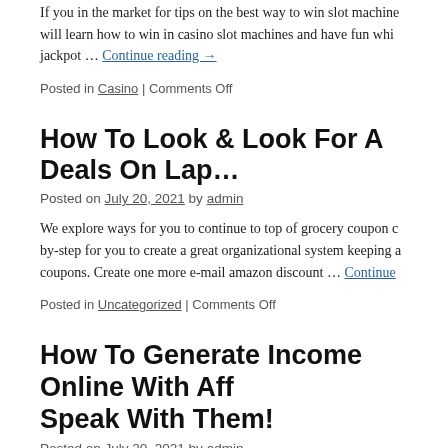If you in the market for tips on the best way to win slot machines, will learn how to win in casino slot machines and have fun while jackpot … Continue reading →
Posted in Casino | Comments Off
How To Look & Look For A Deals On Laptops
Posted on July 20, 2021 by admin
We explore ways for you to continue to top of grocery coupon deals, by-step for you to create a great organizational system keeping all coupons. Create one more e-mail amazon discount … Continue
Posted in Uncategorized | Comments Off
How To Generate Income Online With Affiliates and Speak With Them!
Posted on July 20, 2021 by admin